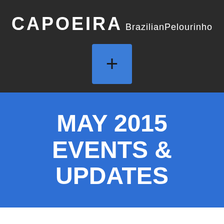CAPOEIRA BrazilianPelourinho
[Figure (other): Blue square button with a plus (+) symbol]
MAY 2015 EVENTS & UPDATES